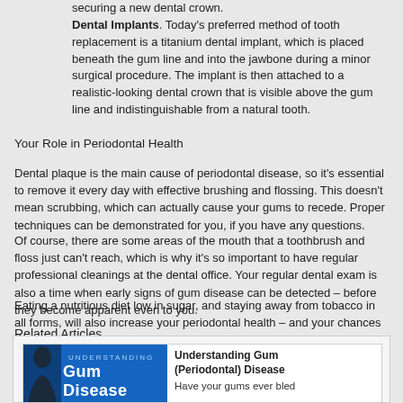securing a new dental crown.
Dental Implants. Today's preferred method of tooth replacement is a titanium dental implant, which is placed beneath the gum line and into the jawbone during a minor surgical procedure. The implant is then attached to a realistic-looking dental crown that is visible above the gum line and indistinguishable from a natural tooth.
Your Role in Periodontal Health
Dental plaque is the main cause of periodontal disease, so it's essential to remove it every day with effective brushing and flossing. This doesn't mean scrubbing, which can actually cause your gums to recede. Proper techniques can be demonstrated for you, if you have any questions.
Of course, there are some areas of the mouth that a toothbrush and floss just can't reach, which is why it's so important to have regular professional cleanings at the dental office. Your regular dental exam is also a time when early signs of gum disease can be detected – before they become apparent even to you.
Eating a nutritious diet low in sugar, and staying away from tobacco in all forms, will also increase your periodontal health – and your chances of keeping your teeth for life.
Related Articles
[Figure (illustration): Related article card: Understanding Gum (Periodontal) Disease with a book cover image showing a blue background with a human silhouette and white text reading 'Understanding Gum Disease', and article subtitle 'Have your gums ever bled']